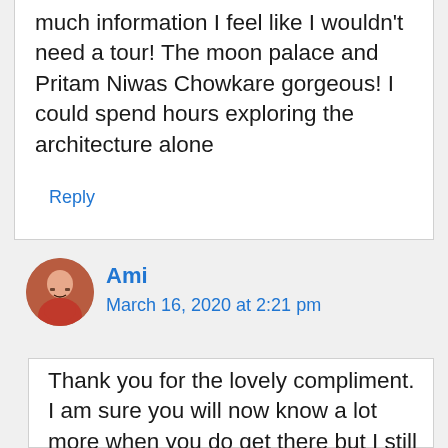much information I feel like I wouldn't need a tour! The moon palace and Pritam Niwas Chowkare gorgeous! I could spend hours exploring the architecture alone
Reply
Ami
March 16, 2020 at 2:21 pm
Thank you for the lovely compliment. I am sure you will now know a lot more when you do get there but I still recommend a tour